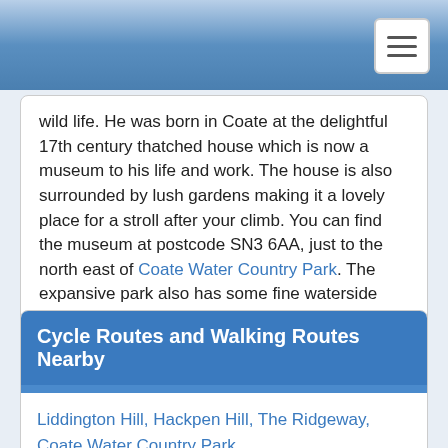wild life. He was born in Coate at the delightful 17th century thatched house which is now a museum to his life and work. The house is also surrounded by lush gardens making it a lovely place for a stroll after your climb. You can find the museum at postcode SN3 6AA, just to the north east of Coate Water Country Park. The expansive park also has some fine waterside trails to try.
For more walking ideas in the area see the North Wessex Downs Walks page.
Cycle Routes and Walking Routes Nearby
Liddington Hill, Hackpen Hill, The Ridgeway, Coate Water Country Park